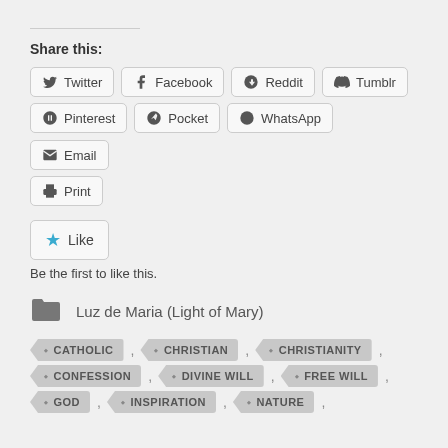Share this:
Twitter, Facebook, Reddit, Tumblr
Pinterest, Pocket, WhatsApp, Email
Print
Like
Be the first to like this.
Luz de Maria (Light of Mary)
CATHOLIC, CHRISTIAN, CHRISTIANITY,
CONFESSION, DIVINE WILL, FREE WILL,
GOD, INSPIRATION, NATURE,